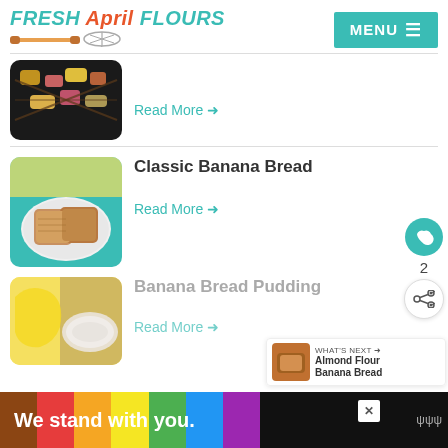FRESH April FLOURS — MENU
[Figure (photo): Colorful chocolate-drizzled fruit bark or candy pieces on a dark tray]
Read More →
[Figure (photo): Classic Banana Bread slices on a white plate with banana and teal cloth background]
Classic Banana Bread
Read More →
[Figure (photo): Banana Bread Pudding ingredients — banana and flour on a plate]
Banana Bread Pudding
Read More →
WHAT'S NEXT → Almond Flour Banana Bread
We stand with you.